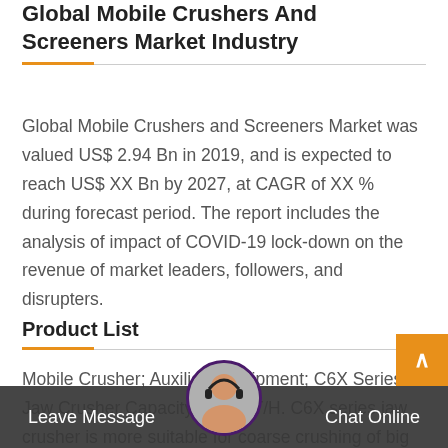Global Mobile Crushers And Screeners Market Industry
Global Mobile Crushers and Screeners Market was valued US$ 2.94 Bn in 2019, and is expected to reach US$ XX Bn by 2027, at CAGR of XX % during forecast period. The report includes the analysis of impact of COVID-19 lock-down on the revenue of market leaders, followers, and disrupters.
Product List
Mobile Crusher; Auxiliary Equipment; C6X Series Jaw Crusher Capacity:50-600T/H. C6X series jaw crusher is more suitable for coarse crushing of big and medium size materials, hardness should be than 320 Mpa. Read M... Impact Crusher Capacity:100-700T/H.